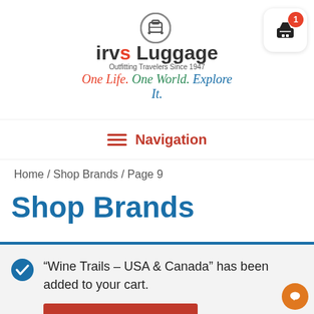[Figure (logo): Irv's Luggage logo with suitcase icon, brand name, tagline 'Outfitting Travelers Since 1947', and script text 'One Life. One World. Explore It.']
[Figure (other): Shopping cart icon button with badge showing count '1']
≡  Navigation
Home / Shop Brands / Page 9
Shop Brands
“Wine Trails – USA & Canada” has been added to your cart.
View cart